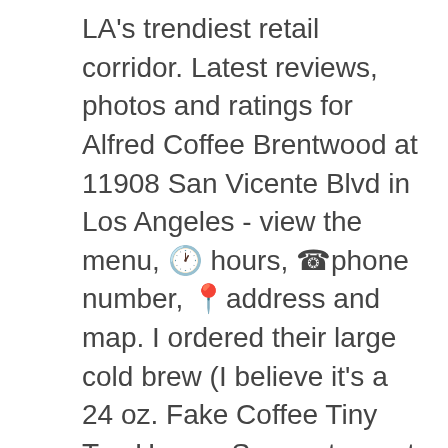LA's trendiest retail corridor. Latest reviews, photos and ratings for Alfred Coffee Brentwood at 11908 San Vicente Blvd in Los Angeles - view the menu, 🕐hours, ☎phone number, 📍address and map. I ordered their large cold brew (I believe it's a 24 oz. Fake Coffee Tiny Tea House. See restaurant menus, reviews, hours, photos, maps and directions. Alfred x Valerie Chocolate Trio. $10.00. Pastries. Latest reviews, photos and ratings for Alfred Coffee Palisades Village at 15217 Palisades Village Ln in Pacific Palisades - view the menu, 🕐hours, ☎phone number, 📍address and map. Two words: Breakfast. Menu. Probably the most delicious drink ever of all time. Los Angeles coffee shop Alfred is now open in Austin its Austin as part of the new Line Austin Hotel in downtown, along with chef Kristen Kish's new restaurant Arlo Grey (which is now open as well).The cafe made its debut over the weekend at 111 East